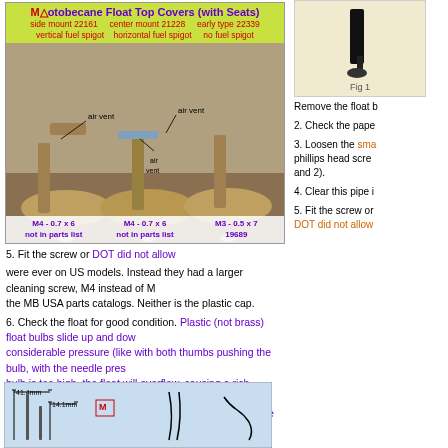[Figure (photo): Motobecane Float Top Covers with Seats - three types shown: side mount 22161 vertical fuel spigot, center mount 21228 horizontal fuel spigot, early type 22339 no fuel spigot. Each shown with air vent labels and their respective screws below: M4-0.7x6 (not in parts list), M4-0.7x6 (not in parts list), M3-0.5x7 19689]
[Figure (photo): Partial figure visible at top right, yellow/cream background]
Remove the float b
2. Check the pape
3. Loosen the small phillips head screw and 2).
4. Clear this pipe i
5. Fit the screw or DOT did not allow were ever on US models. Instead they had a larger cleaning screw, M4 instead of M the MB USA parts catalogs. Neither is the plastic cap.
6. Check the float for good condition. Plastic (not brass) float bulbs slide up and dow considerable pressure (like with both thumbs pushing the bulb, with the needle press bulb is too high, the float will overflow, causing a rich mixture and/or fuel leakage. will "starve" for fuel, at times of high demand. Check if the needle is nearly 41.4mn
[Figure (engineering-diagram): Bottom diagram showing needle measurements: 41.4mm and 14.1mm dimensions marked, with Motobecane logo and needle diagrams]
Straighten a bent n and adjust the grip